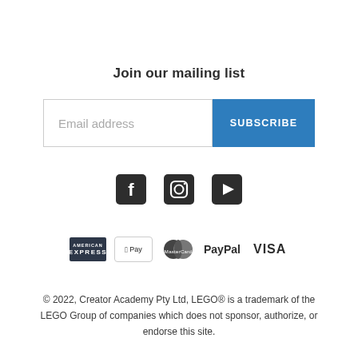Join our mailing list
Email address
SUBSCRIBE
[Figure (infographic): Social media icons: Facebook, Instagram, YouTube]
[Figure (infographic): Payment method icons: American Express, Apple Pay, Mastercard, PayPal, Visa]
© 2022, Creator Academy Pty Ltd, LEGO® is a trademark of the LEGO Group of companies which does not sponsor, authorize, or endorse this site.